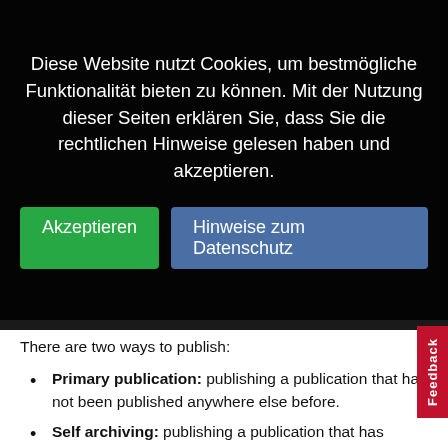As a scientist of TU Braunschweig, you can publish your...
Diese Website nutzt Cookies, um bestmögliche Funktionalität bieten zu können. Mit der Nutzung dieser Seiten erklären Sie, dass Sie die rechtlichen Hinweise gelesen haben und akzeptieren.
Akzeptieren   Hinweise zum Datenschutz
There are two ways to publish:
Primary publication: publishing a publication that has not been published anywhere else before.
Self archiving: publishing a publication that has already been published by a publisher. Many journal publishers allow a further release on an institutional repository under certain conditions (e.g. after a defined embargo period, release of preprints, postprints). You can use the SHERPA/RoMEO list to find out what conditions each journal requires. The University Libraryoffers you support in checking your publication for a possible further release.